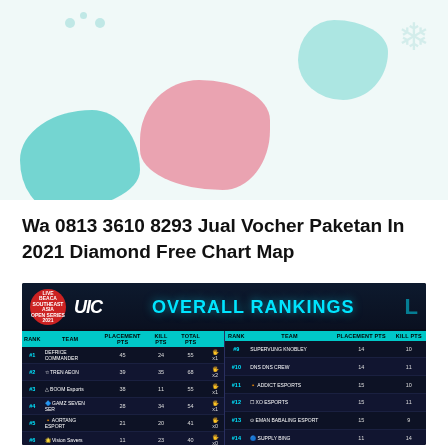[Figure (illustration): Decorative header image with teal, pink color blobs and snowflake on light background]
Wa 0813 3610 8293 Jual Vocher Paketan In 2021 Diamond Free Chart Map
[Figure (screenshot): Screenshot of UIC BEACA Overall Rankings table showing 16 teams with Rank, Team, Placement PTS, Kill PTS, and Total PTS columns. Left side: #1 DEFRICE COMMANDER 45 24 55 x1, #2 TREN AEON 39 35 68 x2, #3 BOOM Esports 38 11 55 x1, #4 GAMZ SEVEN SER 28 34 54 x1, #5 AORTANG ESPORT 21 20 41 x0, #6 Vision Savers 11 23 40 x0, #7 MABADERAN DREAM 22 14 36 x0, #8 Daylight Internet Hub 21 13 34 x0. Right side: #9 SUPERVUNG KNOBLEY 14 10, #10 DNS CREW 14 11, #11 ADDICT ESPORTS 15 10, #12 XO ESPORTS 15 11, #13 EMAN BABALING ESPORT 15 9, #14 SUPPLY BING 11 14, #15 THE FIXERS DOGM 5 15, #16 CMC ESPORTS 2 3]